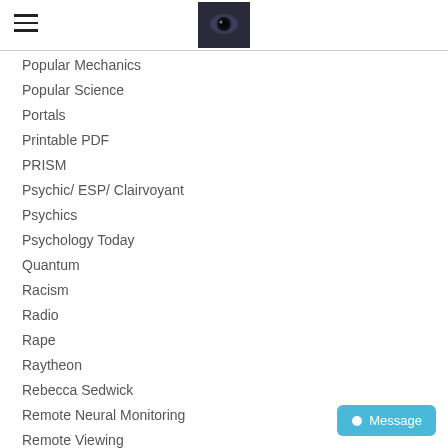[hamburger menu + logo image]
Popular Mechanics
Popular Science
Portals
Printable PDF
PRISM
Psychic/ ESP/ Clairvoyant
Psychics
Psychology Today
Quantum
Racism
Radio
Rape
Raytheon
Rebecca Sedwick
Remote Neural Monitoring
Remote Viewing
REUTERS